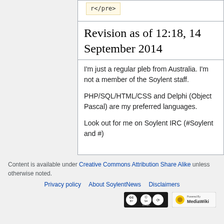r</pre>
Revision as of 12:18, 14 September 2014
I'm just a regular pleb from Australia. I'm not a member of the Soylent staff.
PHP/SQL/HTML/CSS and Delphi (Object Pascal) are my preferred languages.
Look out for me on Soylent IRC (#Soylent and #)
Content is available under Creative Commons Attribution Share Alike unless otherwise noted. Privacy policy · About SoylentNews · Disclaimers